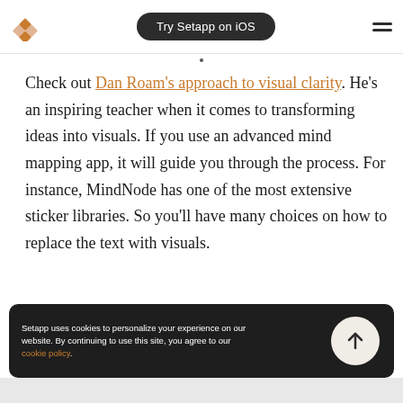Try Setapp on iOS
Check out Dan Roam's approach to visual clarity. He's an inspiring teacher when it comes to transforming ideas into visuals. If you use an advanced mind mapping app, it will guide you through the process. For instance, MindNode has one of the most extensive sticker libraries. So you'll have many choices on how to replace the text with visuals.
Setapp uses cookies to personalize your experience on our website. By continuing to use this site, you agree to our cookie policy.